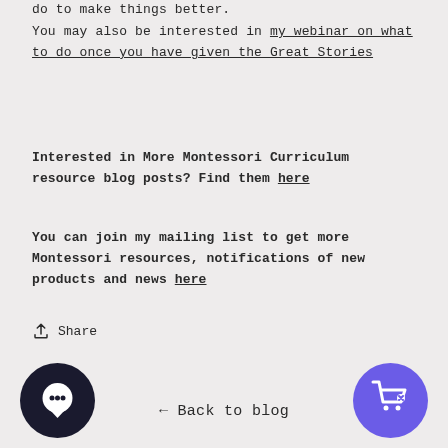do to make things better.
You may also be interested in my webinar on what to do once you have given the Great Stories
Interested in More Montessori Curriculum resource blog posts? Find them here
You can join my mailing list to get more Montessori resources, notifications of new products and news here
Share
← Back to blog